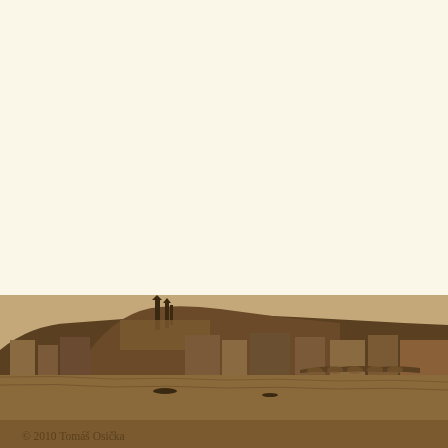2006 — Doctorate in Law (JU...) in Brno
2006 — State Language Inter...
2007 — Attorney at Law Exa... Law maintained by t...
since 2008 — Practicing Attorney a...
Publications:
International Franchising, The... (Collective work), Kluwer Law...
[Figure (photo): Sepia-toned photograph of Prague cityscape showing Prague Castle, St. Vitus Cathedral, historic buildings along the Vltava river, and a bridge, taken from across the river]
© 2010 Tomáš Osička